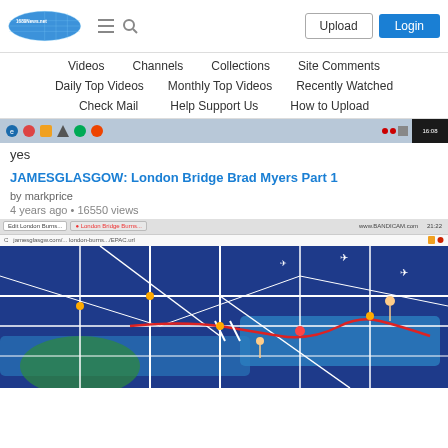[Figure (screenshot): Website header with logo, hamburger menu, search icon, Upload button, Login button]
Videos   Channels   Collections   Site Comments
Daily Top Videos   Monthly Top Videos   Recently Watched
Check Mail   Help Support Us   How to Upload
[Figure (screenshot): Taskbar screenshot strip at bottom of browser window]
yes
JAMESGLASGOW: London Bridge Brad Myers Part 1
by markprice
4 years ago • 16550 views
[Figure (screenshot): Screenshot of a video showing London Bridge area map with tourist routes highlighted in red, blue water areas, and various landmarks marked]